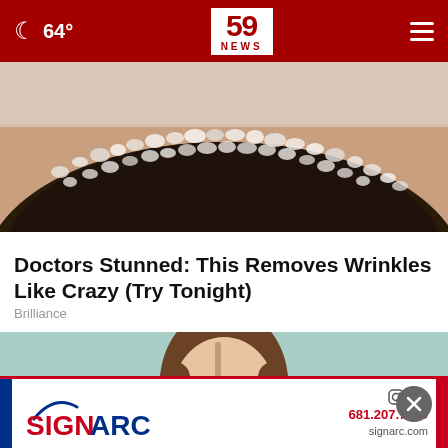64° | 59 NEWS
[Figure (photo): Close-up photo of a dark surface (possibly chocolate or skin) covered in large crystal-like granules or sugar crystals, against a light grey background.]
Doctors Stunned: This Removes Wrinkles Like Crazy (Try Tonight)
Brilliance
[Figure (photo): A smiling young woman with long brown hair, photographed against a light teal/mint background.]
[Figure (logo): SIGNARC advertisement banner with logo, phone number 681.207.7329 and website signarc.com, with social media icons.]